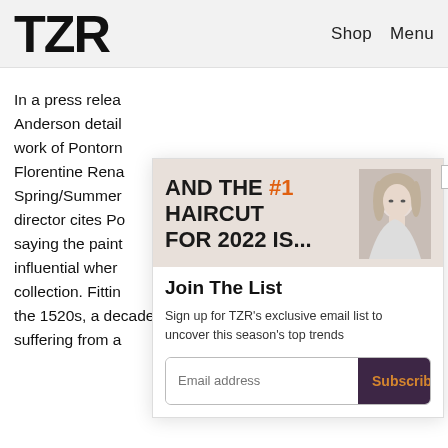TZR  Shop  Menu
In a press release Anderson detail work of Pontorn Florentine Rena Spring/Summer director cites Po saying the paint influential wher collection. Fittin the 1520s, a decade in which Italy was suffering from a
[Figure (screenshot): Ad banner with text 'AND THE #1 HAIRCUT FOR 2022 IS...' with woman's photo]
Join The List
Sign up for TZR's exclusive email list to uncover this season's top trends
Email address  Subscribe